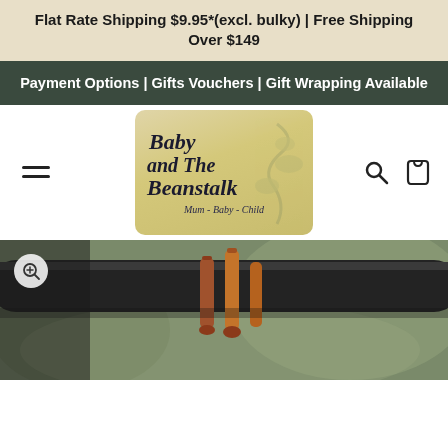Flat Rate Shipping $9.95*(excl. bulky) | Free Shipping Over $149
Payment Options | Gifts Vouchers | Gift Wrapping Available
[Figure (logo): Baby and The Beanstalk logo with script text on a golden/tan background. Text reads: Baby and The Beanstalk, Mum - Baby - Child]
[Figure (photo): Close-up photo of dark handlebar with tan/brown leather straps, blurred green background. A zoom/magnify button is visible in the lower left.]